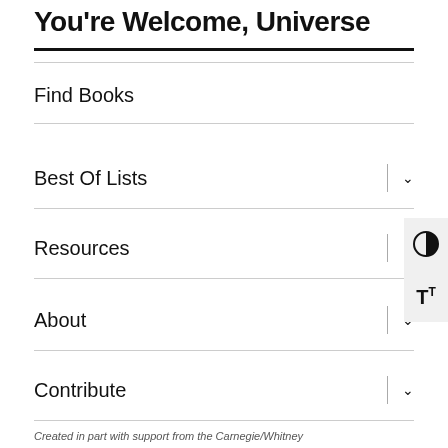You're Welcome, Universe
Find Books
Best Of Lists
Resources
About
Contribute
Created in part with support from the Carnegie/Whitney